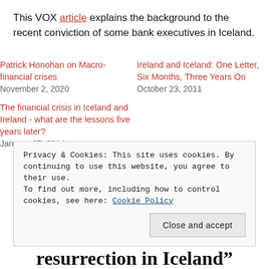This VOX article explains the background to the recent conviction of some bank executives in Iceland.
Patrick Honohan on Macro-financial crises
November 2, 2020
Ireland and Iceland: One Letter, Six Months, Three Years On
October 23, 2011
The financial crisis in Iceland and Ireland - what are the lessons five years later?
January 27, 2014
Privacy & Cookies: This site uses cookies. By continuing to use this website, you agree to their use.
To find out more, including how to control cookies, see here: Cookie Policy
Close and accept
resurrection in Iceland”